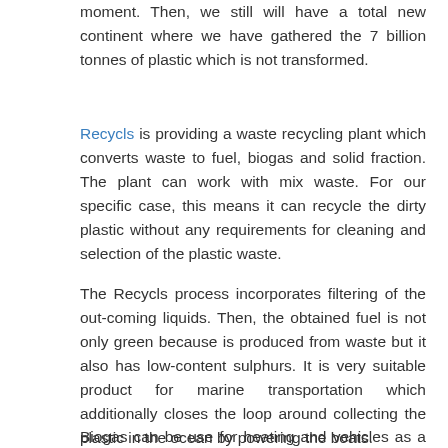moment. Then, we still will have a total new continent where we have gathered the 7 billion tonnes of plastic which is not transformed.
Recycls is providing a waste recycling plant which converts waste to fuel, biogas and solid fraction. The plant can work with mix waste. For our specific case, this means it can recycle the dirty plastic without any requirements for cleaning and selection of the plastic waste.
The Recycls process incorporates filtering of the out-coming liquids. Then, the obtained fuel is not only green because is produced from waste but it also has low-content sulphurs. It is very suitable product for marine transportation which additionally closes the loop around collecting the plastic in the ocean by powering the boats.
Biogas can be use for heating and vehicles as a green